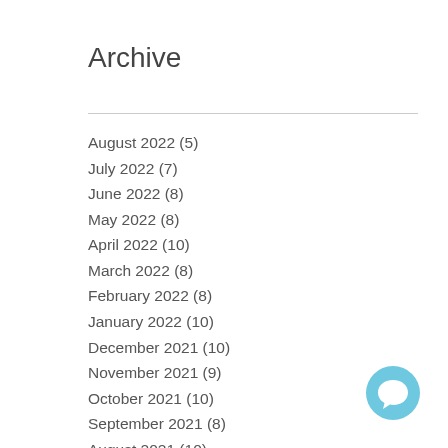Archive
August 2022 (5)
July 2022 (7)
June 2022 (8)
May 2022 (8)
April 2022 (10)
March 2022 (8)
February 2022 (8)
January 2022 (10)
December 2021 (10)
November 2021 (9)
October 2021 (10)
September 2021 (8)
August 2021 (10)
July 2021 (8)
June 2021 (8)